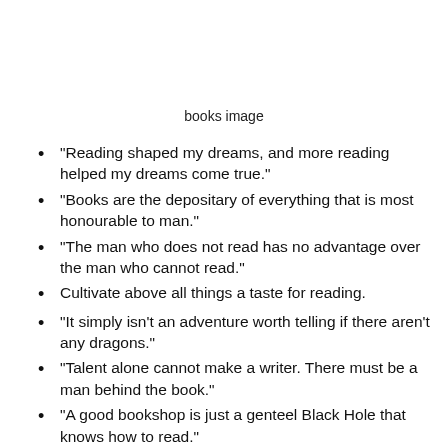books image
“Reading shaped my dreams, and more reading helped my dreams come true.”
“Books are the depositary of everything that is most honourable to man.”
“The man who does not read has no advantage over the man who cannot read.”
Cultivate above all things a taste for reading.
“It simply isn’t an adventure worth telling if there aren’t any dragons.”
“Talent alone cannot make a writer. There must be a man behind the book.”
“A good bookshop is just a genteel Black Hole that knows how to read.”